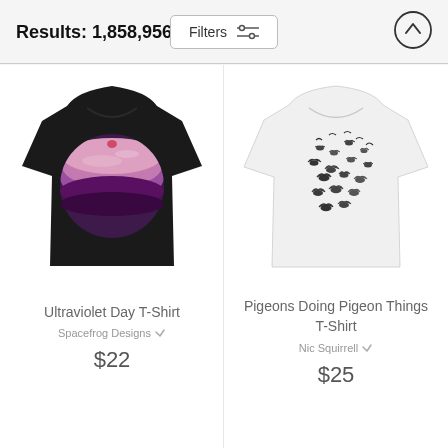Results: 1,858,956
[Figure (photo): Black t-shirt with circular ultraviolet/purple sunset design]
Ultraviolet Day T-Shirt
Spacefrog Designs
$22
[Figure (photo): White t-shirt with flock of pigeon silhouettes design]
Pigeons Doing Pigeon Things T-Shirt
Nic Squirrell
$25